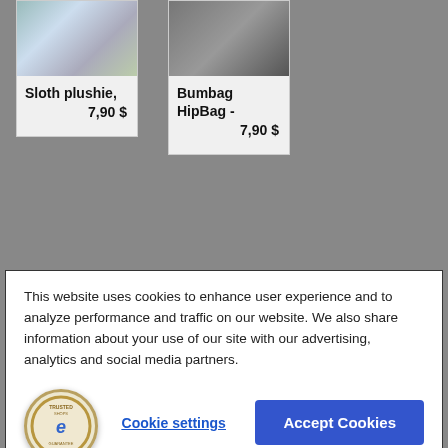[Figure (photo): Sloth plushie product image - grey/green tones]
Sloth plushie,
7,90 $
[Figure (photo): Bumbag Hip Bag product image - dark/geometric pattern]
Bumbag HipBag -
7,90 $
DESCRIPTION
This website uses cookies to enhance user experience and to analyze performance and traffic on our website. We also share information about your use of our site with our advertising, analytics and social media partners.
[Figure (logo): Trusted Shops e Guarantee badge - circular gold border with 'e' logo]
Cookie settings
Accept Cookies